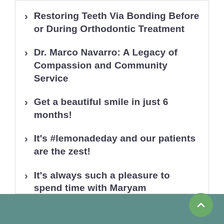Restoring Teeth Via Bonding Before or During Orthodontic Treatment
Dr. Marco Navarro: A Legacy of Compassion and Community Service
Get a beautiful smile in just 6 months!
It's #lemonadeday and our patients are the zest!
It's always such a pleasure to spend time with Maryam